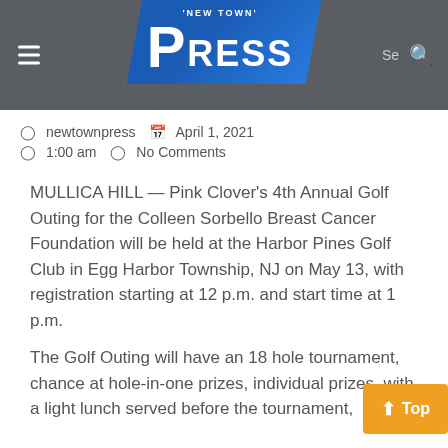'New Town' Press
newtownpress   April 1, 2021
1:00 am   No Comments
MULLICA HILL — Pink Clover's 4th Annual Golf Outing for the Colleen Sorbello Breast Cancer Foundation will be held at the Harbor Pines Golf Club in Egg Harbor Township, NJ on May 13, with registration starting at 12 p.m. and start time at 1 p.m.
The Golf Outing will have an 18 hole tournament, chance at hole-in-one prizes, individual prizes, with a light lunch served before the tournament,